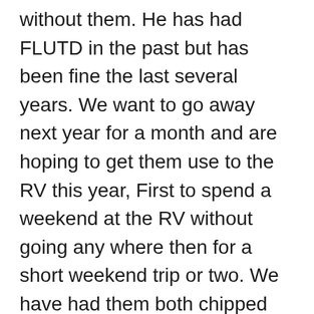without them. He has had FLUTD in the past but has been fine the last several years. We want to go away next year for a month and are hoping to get them use to the RV this year, First to spend a weekend at the RV without going any where then for a short weekend trip or two. We have had them both chipped and up to date on vaccines. We plan to have a harness on them but not allow them out unless they are in the pup tent we bought them that can fit a very big dog or three so they can get fresh air. any other suggestions? we plan on two litter boxes and to keep them contained while on the road driving, a friend who travels with them cat said its safer as you don't want them under the brake or